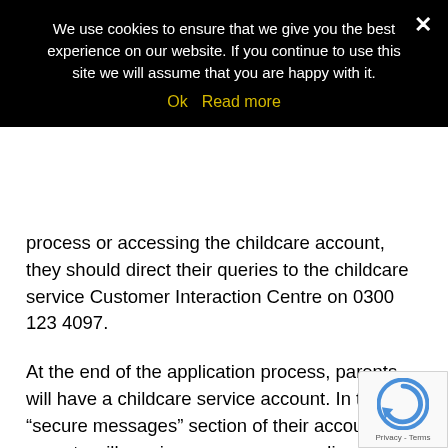We use cookies to ensure that we give you the best experience on our website. If you continue to use this site we will assume that you are happy with it.
Ok  Read more
process or accessing the childcare account, they should direct their queries to the childcare service Customer Interaction Centre on 0300 123 4097.
At the end of the application process, parents will have a childcare service account. In the “secure messages” section of their account, parents will receive messages regarding their eligibility. If parents are eligible for 30 hours, they will be given an 11 digit ‘eligibility code’ for their child. They will be asked to take this code (along with their National Insurance number and child’s date of birth) to their p to claim their 30 hours place. These codes normally with ‘5000’. However, there are a small number of cases